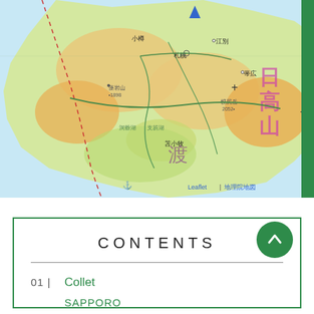[Figure (map): A topographic map of Hokkaido region in Japan showing cities including 札幌 (Sapporo), 小樽 (Otaru), 江別 (Ebetsu), 苫小牧 (Tomakomai), and mountains with elevation markers. Features terrain coloring in greens and oranges. Attribution: Leaflet | 地理院地図]
CONTENTS
01 | Collet
SAPPORO
02 | Cream Chocolate Pie
03 | List of Activities